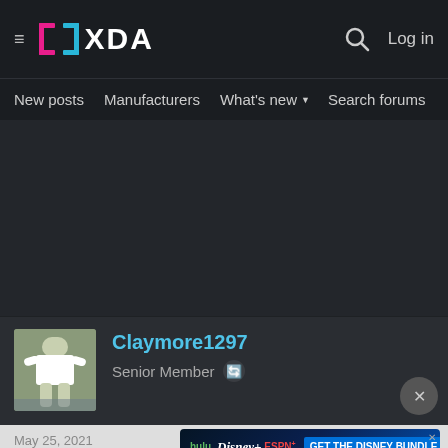XDA Forums navigation header with hamburger menu, XDA logo, search icon, and Log in link
New posts | Manufacturers | What's new | Search forums | Membe >
[Figure (other): Dark background ad/content placeholder area]
Claymore1297
Senior Member
[Figure (photo): User avatar photo of a person in white martial arts uniform]
May 25, 2021
[Figure (other): Disney Bundle advertisement banner: Hulu, Disney+, ESPN+ - GET THE DISNEY BUNDLE. Incl. Hulu (ad-supported) or Hulu (No Ads). Access content from each service separately. ©2021 Disney and its related entities]
riddell said: